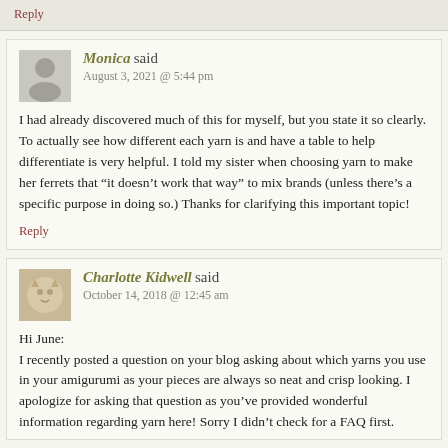Reply
Monica said
August 3, 2021 @ 5:44 pm
I had already discovered much of this for myself, but you state it so clearly. To actually see how different each yarn is and have a table to help differentiate is very helpful. I told my sister when choosing yarn to make her ferrets that “it doesn’t work that way” to mix brands (unless there’s a specific purpose in doing so.) Thanks for clarifying this important topic!
Reply
Charlotte Kidwell said
October 14, 2018 @ 12:45 am
Hi June:
I recently posted a question on your blog asking about which yarns you use in your amigurumi as your pieces are always so neat and crisp looking. I apologize for asking that question as you’ve provided wonderful information regarding yarn here! Sorry I didn’t check for a FAQ first.